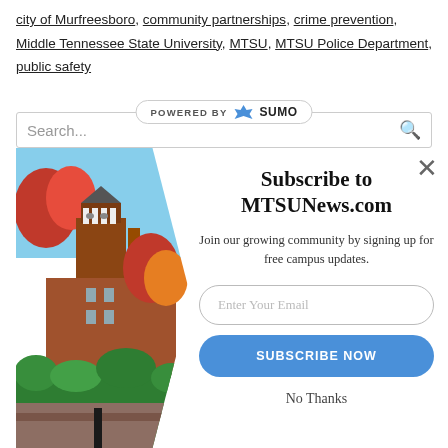city of Murfreesboro, community partnerships, crime prevention, Middle Tennessee State University, MTSU, MTSU Police Department, public safety
[Figure (screenshot): POWERED BY SUMO badge/pill with crown icon]
[Figure (photo): MTSU campus building with bell tower, red autumn foliage trees, brick exterior, blue sky]
Subscribe to MTSUNews.com
Join our growing community by signing up for free campus updates.
Enter Your Email
SUBSCRIBE NOW
No Thanks